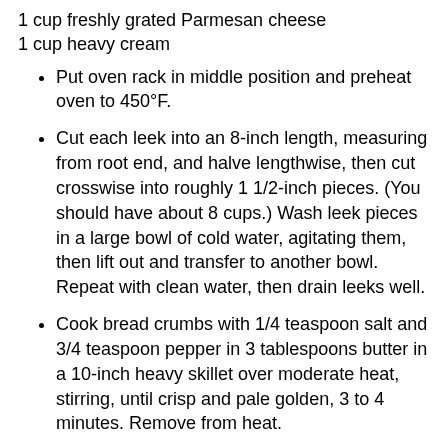1 cup freshly grated Parmesan cheese
1 cup heavy cream
Put oven rack in middle position and preheat oven to 450°F.
Cut each leek into an 8-inch length, measuring from root end, and halve lengthwise, then cut crosswise into roughly 1 1/2-inch pieces. (You should have about 8 cups.) Wash leek pieces in a large bowl of cold water, agitating them, then lift out and transfer to another bowl. Repeat with clean water, then drain leeks well.
Cook bread crumbs with 1/4 teaspoon salt and 3/4 teaspoon pepper in 3 tablespoons butter in a 10-inch heavy skillet over moderate heat, stirring, until crisp and pale golden, 3 to 4 minutes. Remove from heat.
Cook leeks with remaining 1/2 teaspoon salt and 1/4 teaspoon pepper in remaining 3 tablespoons butter in a 12-inch heavy skillet over moderately low heat, stirring occasionally, until tender, about